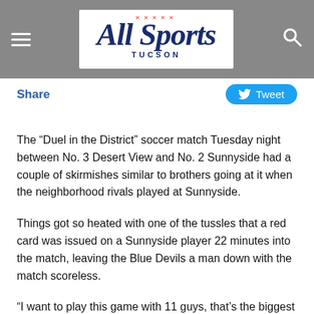All Sports Tucson
Share
Tweet
The “Duel in the District” soccer match Tuesday night between No. 3 Desert View and No. 2 Sunnyside had a couple of skirmishes similar to brothers going at it when the neighborhood rivals played at Sunnyside.
Things got so heated with one of the tussles that a red card was issued on a Sunnyside player 22 minutes into the match, leaving the Blue Devils a man down with the match scoreless.
“I want to play this game with 11 guys, that’s the biggest thing … it’s a big game for us, it’s Desert View, it’s a rival, but the bigger thing is it’s No. 2 vs. No. 3 in